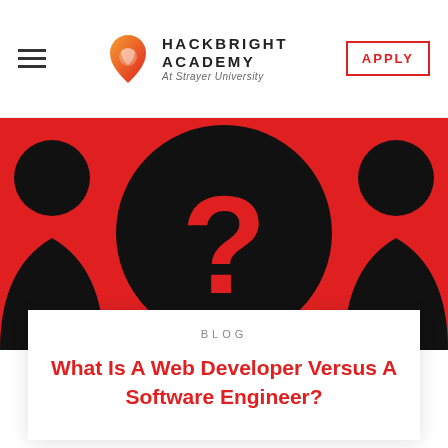HACKBRIGHT ACADEMY At Strayer University | APPLY
[Figure (illustration): Red background with black silhouette figures on sides and a large black circle in the center containing a red question mark symbol.]
BLOG
What Is A Web Developer Versus A Software Engineer?